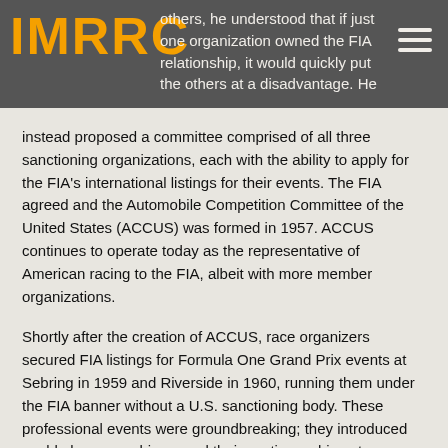IMRRC
others, he understood that if just one organization owned the FIA relationship, it would quickly put the others at a disadvantage. He instead proposed a committee comprised of all three sanctioning organizations, each with the ability to apply for the FIA's international listings for their events. The FIA agreed and the Automobile Competition Committee of the United States (ACCUS) was formed in 1957. ACCUS continues to operate today as the representative of American racing to the FIA, albeit with more member organizations.
Shortly after the creation of ACCUS, race organizers secured FIA listings for Formula One Grand Prix events at Sebring in 1959 and Riverside in 1960, running them under the FIA banner without a U.S. sanctioning body. These professional events were groundbreaking; they introduced world-class race drivers and their exotic machines to American audiences. By 1961, USAC had taken over the sanction of the L.A. Times Grand Prix and a similar event held at Laguna Seca.
The first Watkins Glen-based Formula One race was held in 1961 under direct FIA sanction. These races, along with Alec Ulmann's 12 Hours of Sebring held in March, became a powerful magnet for American drivers